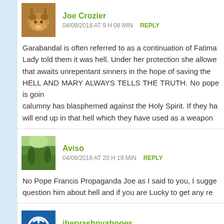Joe Crozier
04/09/2018 AT 9 H 08 MIN   REPLY
Garabandal is often referred to as a continuation of Fatima... Lady told them it was hell. Under her protection she allowed that awaits unrepentant sinners in the hope of saving the... HELL AND MARY ALWAYS TELLS THE TRUTH. No pope is going... calumny has blasphemed against the Holy Spirit. If they ha... will end up in that hell which they have used as a weapon...
Aviso
04/09/2018 AT 20 H 19 MIN   REPLY
No Pope Francis Propaganda Joe as I said to you, I suggest question him about hell and if you are Lucky to get any re...
jhervashpyahooes
04/09/2018 AT 21 H 32 MIN   REPLY
I can't help laughing after reading the answer of Aviso, g... that causes me Pope Francis and my doubts that he is a...